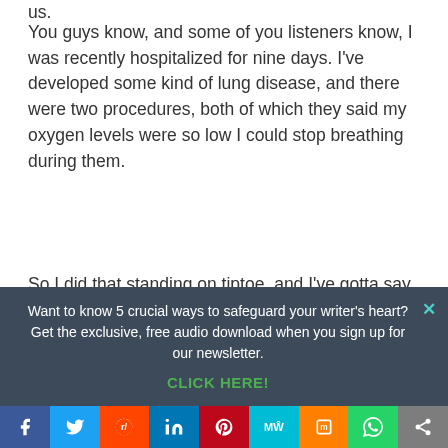us.
You guys know, and some of you listeners know, I was recently hospitalized for nine days. I've developed some kind of lung disease, and there were two procedures, both of which they said my oxygen levels were so low I could stop breathing during them.
So I did that standing on tiptoe, and I've gotta say that if it hadn't been for the foundation that my parents gave me in their example of living out faith everyday, if it hadn't been for the foundation of
Want to know 5 crucial ways to safeguard your writer's heart? Get the exclusive, free audio download when you sign up for our newsletter.
CLICK HERE!
[Figure (infographic): Social media sharing bar with icons for Facebook, Twitter, Reddit, LinkedIn, Pinterest, MeWe, Mix, WhatsApp, and share]